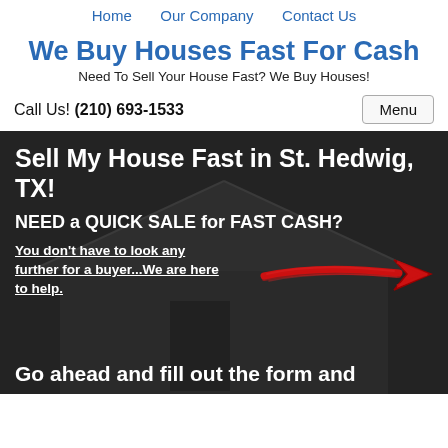Home   Our Company   Contact Us
We Buy Houses Fast For Cash
Need To Sell Your House Fast? We Buy Houses!
Call Us! (210) 693-1533
Menu
Sell My House Fast in St. Hedwig, TX!
NEED a QUICK SALE for FAST CASH?
You don’t have to look any further for a buyer…We are here to help.
[Figure (illustration): Red hand-drawn arrow pointing to the right, overlaid on a dark background with a house image]
Go ahead and fill out the form and